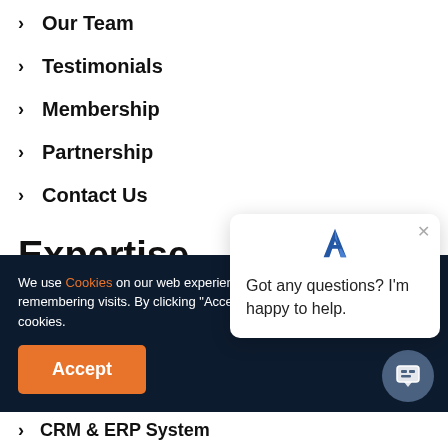> Our Team
> Testimonials
> Membership
> Partnership
> Contact Us
Expertise
We use Cookies on our web experience by remembering visits. By clicking "Accept?? cookies.
Accept
[Figure (screenshot): Chat popup with logo and message: Got any questions? I'm happy to help.]
> CRM & ERP System